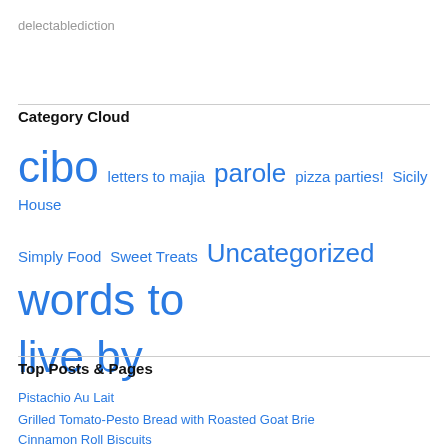delectablediction
Category Cloud
cibo  letters to majia  parole  pizza parties!  Sicily House  Simply Food  Sweet Treats  Uncategorized  words to live by
Top Posts & Pages
Pistachio Au Lait
Grilled Tomato-Pesto Bread with Roasted Goat Brie
Cinnamon Roll Biscuits